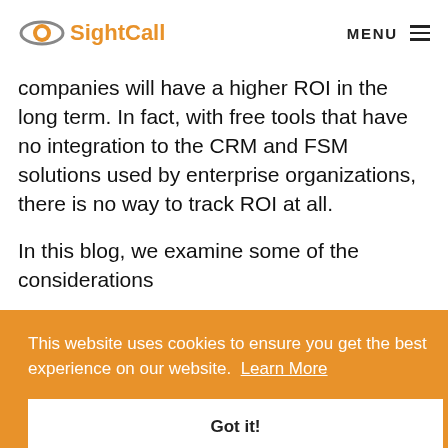SightCall  MENU
companies will have a higher ROI in the long term. In fact, with free tools that have no integration to the CRM and FSM solutions used by enterprise organizations, there is no way to track ROI at all.
In this blog, we examine some of the considerations involved in evaluating a remote visual assistance solution.
This website uses cookies to ensure you get the best experience on our website.  Learn More
Got it!